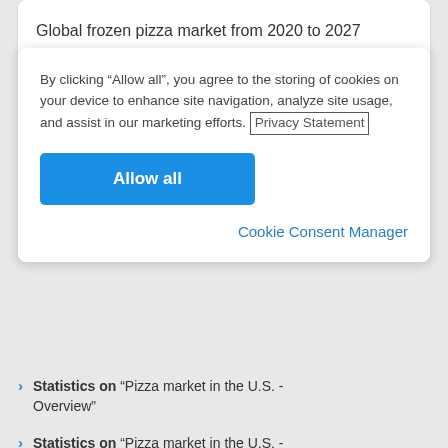Global frozen pizza market from 2020 to 2027
By clicking “Allow all”, you agree to the storing of cookies on your device to enhance site navigation, analyze site usage, and assist in our marketing efforts. Privacy Statement
Allow all
Cookie Consent Manager
Statistics on “Pizza market in the U.S. - Overview”
Statistics on “Pizza market in the U.S. -